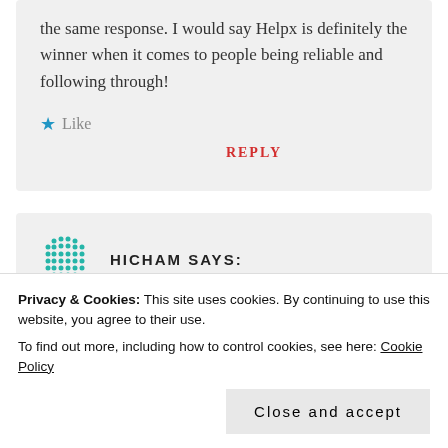the same response. I would say Helpx is definitely the winner when it comes to people being reliable and following through!
★ Like
REPLY
HICHAM SAYS:
Privacy & Cookies: This site uses cookies. By continuing to use this website, you agree to their use.
To find out more, including how to control cookies, see here: Cookie Policy
Close and accept
the host if helpx even by paying the